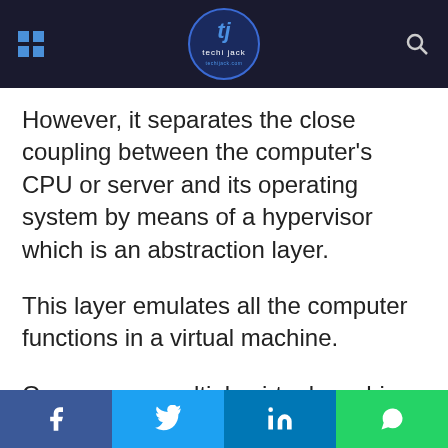techi jack
However, it separates the close coupling between the computer’s CPU or server and its operating system by means of a hypervisor which is an abstraction layer.
This layer emulates all the computer functions in a virtual machine.
One can run multiple virtual machines at the same time and these machines are
Facebook | Twitter | LinkedIn | WhatsApp